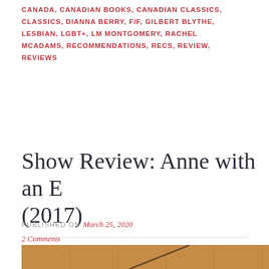CANADA, CANADIAN BOOKS, CANADIAN CLASSICS, CLASSICS, DIANNA BERRY, F/F, GILBERT BLYTHE, LESBIAN, LGBT+, LM MONTGOMERY, RACHEL MCADAMS, RECOMMENDATIONS, RECS, REVIEW, REVIEWS
Show Review: Anne with an E (2017)
PUBLISHED ON March 25, 2020
2 Comments
[Figure (photo): Partial view of a brown/tan tiled or paneled surface with a diagonal dark line crossing from lower left to upper right area]